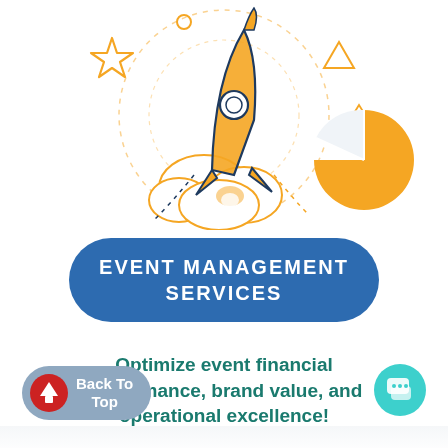[Figure (illustration): Colorful line art illustration of a rocket launching upward with clouds, a star, geometric shapes (triangle, circle, dotted lines), and a pie chart — orange and dark navy color scheme on white background.]
EVENT MANAGEMENT SERVICES
Optimize event financial performance, brand value, and operational excellence!